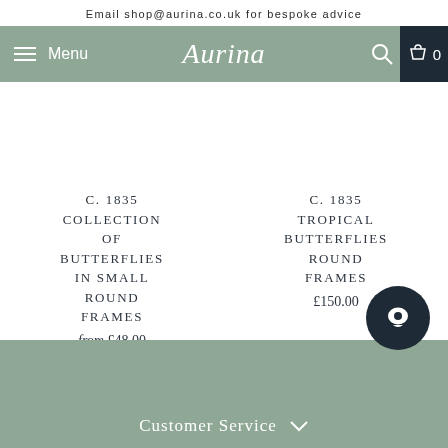Email shop@aurina.co.uk for bespoke advice
[Figure (screenshot): Aurina website navigation bar with hamburger menu icon, Menu text, Aurina script logo, search icon, shopping bag icon and cart count 0]
C. 1835
COLLECTION OF BUTTERFLIES IN SMALL ROUND FRAMES
from £48.00
C. 1835
TROPICAL BUTTERFLIES ROUND FRAMES
£150.00
Customer Service